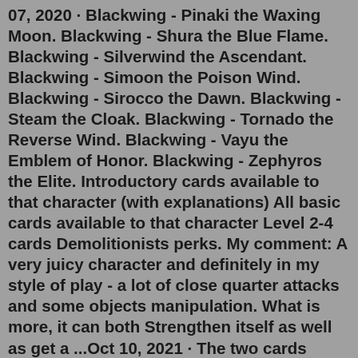07, 2020 · Blackwing - Pinaki the Waxing Moon. Blackwing - Shura the Blue Flame. Blackwing - Silverwind the Ascendant. Blackwing - Simoon the Poison Wind. Blackwing - Sirocco the Dawn. Blackwing - Steam the Cloak. Blackwing - Tornado the Reverse Wind. Blackwing - Vayu the Emblem of Honor. Blackwing - Zephyros the Elite. Introductory cards available to that character (with explanations) All basic cards available to that character Level 2-4 cards Demolitionists perks. My comment: A very juicy character and definitely in my style of play - a lot of close quarter attacks and some objects manipulation. What is more, it can both Strengthen itself as well as get a ...Oct 10, 2021 · The two cards we've picked out are the entry-level Midnight Blue card and the Ruby Steel. The Blue card doesn't require you to stake any MCO and offers 1% MCO rewards on all spending. The card offers a monthly interbank exchange rate up to $2,000 and you can withdraw up to $200 a month from ATMs for free, though there's a 2% fee thereafter. More ideas from